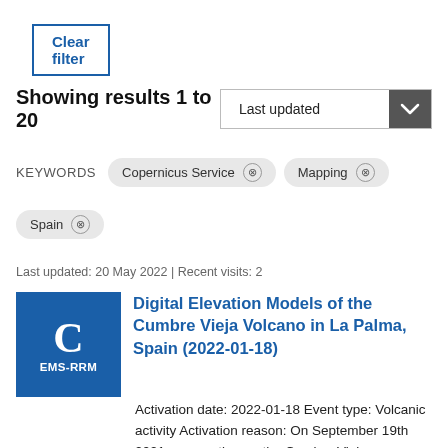Clear filter
Showing results 1 to 20
Last updated
KEYWORDS  Copernicus Service ×  Mapping ×  Spain ×
Last updated: 20 May 2022 | Recent visits: 2
Digital Elevation Models of the Cumbre Vieja Volcano in La Palma, Spain (2022-01-18)
Activation date: 2022-01-18 Event type: Volcanic activity Activation reason: On September 19th 2021, an eruption on the Cumbre Vieja volcano started, close to the area of